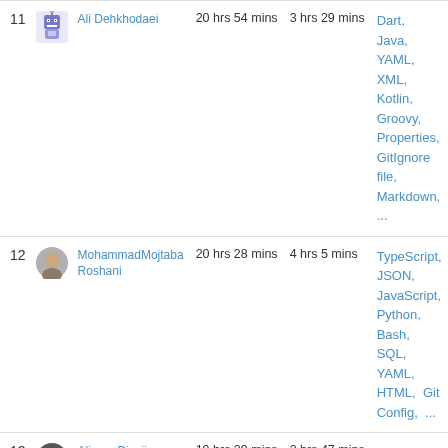| # | User |  | Total Time | Avg Time | Languages |  |
| --- | --- | --- | --- | --- | --- | --- |
| 11 | Ali Dehkhodaei |  | 20 hrs 54 mins | 3 hrs 29 mins | Dart, Java, YAML, XML, Kotlin, Groovy, Properties, GitIgnore file, Markdown, ... | hireab |
| 12 | MohammadMojtaba Roshani |  | 20 hrs 28 mins | 4 hrs 5 mins | TypeScript, JSON, JavaScript, Python, Bash, SQL, YAML, HTML, Git Config, ... |  |
| 13 | Alireza Dizaji |  | 19 hrs 29 mins | 2 hrs 47 mins | Python, CSV, Text, Markdown |  |